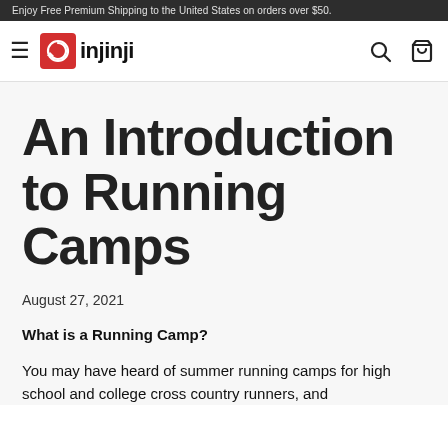Enjoy Free Premium Shipping to the United States on orders over $50.
[Figure (logo): Injinji logo: red square badge with circular arrow icon, followed by bold text 'injinji']
An Introduction to Running Camps
August 27, 2021
What is a Running Camp?
You may have heard of summer running camps for high school and college cross country runners, and